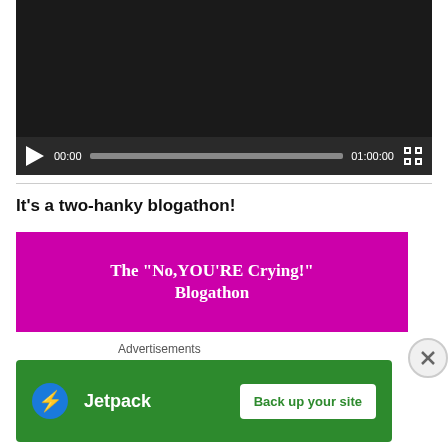[Figure (screenshot): Video player with black screen and playback controls showing 00:00 current time and 01:00:00 total duration]
It's a two-hanky blogathon!
[Figure (illustration): Magenta/pink banner with white serif text reading: The "No,YOU'RE Crying!" Blogathon]
Advertisements
[Figure (screenshot): Jetpack advertisement banner with green background showing Jetpack logo and 'Back up your site' button]